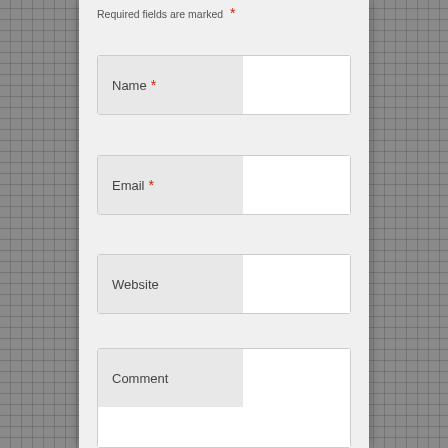Required fields are marked *
Name *
Email *
Website
Comment